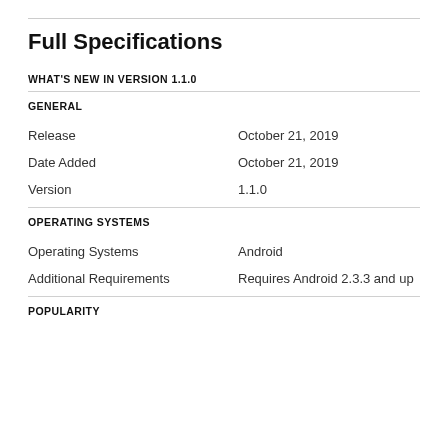Full Specifications
WHAT'S NEW IN VERSION 1.1.0
GENERAL
Release	October 21, 2019
Date Added	October 21, 2019
Version	1.1.0
OPERATING SYSTEMS
Operating Systems	Android
Additional Requirements	Requires Android 2.3.3 and up
POPULARITY